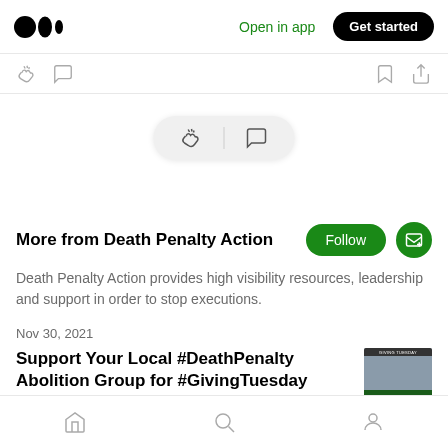Medium logo | Open in app | Get started
[Figure (screenshot): Medium app interface screenshot showing clap and comment icon row, floating action pill with clap and chat icons, 'More from Death Penalty Action' section with Follow and subscribe buttons, description text, article date Nov 30 2021, article title 'Support Your Local #DeathPenalty Abolition Group for #GivingTuesday', and bottom navigation bar.]
More from Death Penalty Action
Death Penalty Action provides high visibility resources, leadership and support in order to stop executions.
Nov 30, 2021
Support Your Local #DeathPenalty Abolition Group for #GivingTuesday
Home | Search | Profile